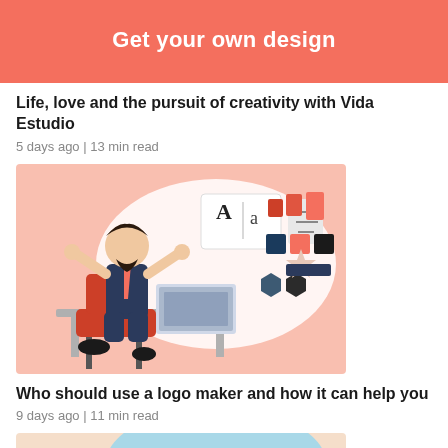Get your own design
Life, love and the pursuit of creativity with Vida Estudio
5 days ago | 13 min read
[Figure (illustration): Illustration of a man sitting at a desk with a laptop, surrounded by design elements like typography (A|a), color swatches in salmon/red tones, and geometric shapes, on a pink background with a large speech bubble shape]
Who should use a logo maker and how it can help you
9 days ago | 11 min read
[Figure (illustration): Partial illustration showing a peach/beige background with a blue speech bubble containing the text 'Bow Wow' and what appears to be a brown animal (dog) at the bottom edge]